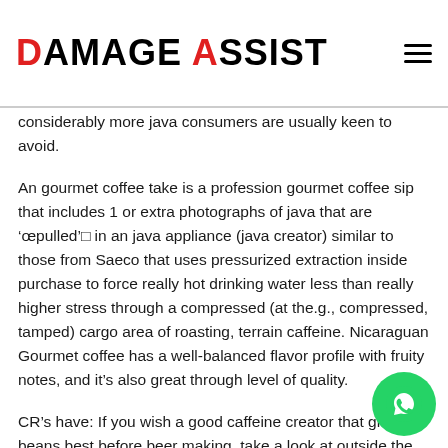DAMAGE ASSIST
considerably more java consumers are usually keen to avoid.
An gourmet coffee take is a profession gourmet coffee sip that includes 1 or extra photographs of java that are ‘œpulled’□ in an java appliance (java creator) similar to those from Saeco that uses pressurized extraction inside purchase to force really hot drinking water less than really higher stress through a compressed (at the.g., compressed, tamped) cargo area of roasting, terrain caffeine. Nicaraguan Gourmet coffee has a well-balanced flavor profile with fruity notes, and it’s also great through level of quality.
CR’s have: If you wish a good caffeine creator that grinds beans best before beer making, take a look at outside the